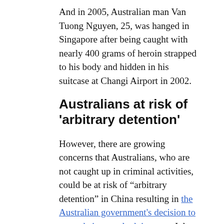And in 2005, Australian man Van Tuong Nguyen, 25, was hanged in Singapore after being caught with nearly 400 grams of heroin strapped to his body and hidden in his suitcase at Changi Airport in 2002.
Australians at risk of ‘arbitrary detention’
However, there are growing concerns that Australians, who are not caught up in criminal activities, could be at risk of “arbitrary detention” in China resulting in the Australian government’s decision to upgrade its travel advisory on July 7.
“Authorities have detained foreigners [in China] because they’re ‘endangering national security’.